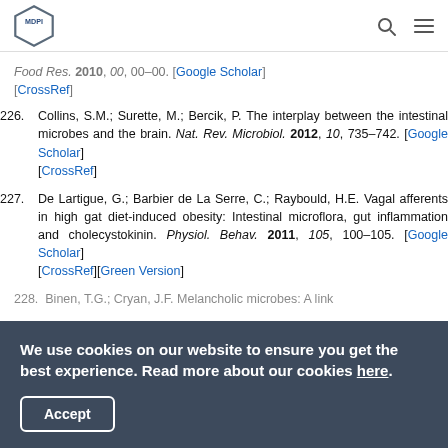MDPI
Food Res. 2010, 00, 00–00. [Google Scholar] [CrossRef]
226. Collins, S.M.; Surette, M.; Bercik, P. The interplay between the intestinal microbes and the brain. Nat. Rev. Microbiol. 2012, 10, 735–742. [Google Scholar] [CrossRef]
227. De Lartigue, G.; Barbier de La Serre, C.; Raybould, H.E. Vagal afferents in high gat diet-induced obesity: Intestinal microflora, gut inflammation and cholecystokinin. Physiol. Behav. 2011, 105, 100–105. [Google Scholar] [CrossRef][Green Version]
228. Binen, T.G.; Cryan, J.F. Melancholic microbes: A link
We use cookies on our website to ensure you get the best experience. Read more about our cookies here.
Accept